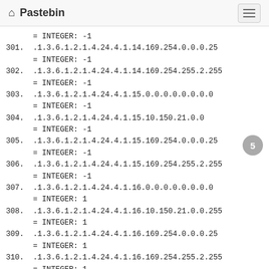Pastebin
= INTEGER: -1
301. .1.3.6.1.2.1.4.24.4.1.14.169.254.0.0.0.25
      = INTEGER: -1
302. .1.3.6.1.2.1.4.24.4.1.14.169.254.255.2.255
      = INTEGER: -1
303. .1.3.6.1.2.1.4.24.4.1.15.0.0.0.0.0.0.0.0
      = INTEGER: -1
304. .1.3.6.1.2.1.4.24.4.1.15.10.150.21.0.0
      = INTEGER: -1
305. .1.3.6.1.2.1.4.24.4.1.15.169.254.0.0.0.25
      = INTEGER: -1
306. .1.3.6.1.2.1.4.24.4.1.15.169.254.255.2.255
      = INTEGER: -1
307. .1.3.6.1.2.1.4.24.4.1.16.0.0.0.0.0.0.0.0
      = INTEGER: 1
308. .1.3.6.1.2.1.4.24.4.1.16.10.150.21.0.0.255
      = INTEGER: 1
309. .1.3.6.1.2.1.4.24.4.1.16.169.254.0.0.0.25
      = INTEGER: 1
310. .1.3.6.1.2.1.4.24.4.1.16.169.254.255.2.255
      = INTEGER: 1
311. .1.3.6.1.2.1.4.24.6.0 = Gauge32: 7
312. .1.3.6.1.2.1.4.24.7.1.7.1.4.0.0.0.0.0.2.0.0
      = INTEGER: 7